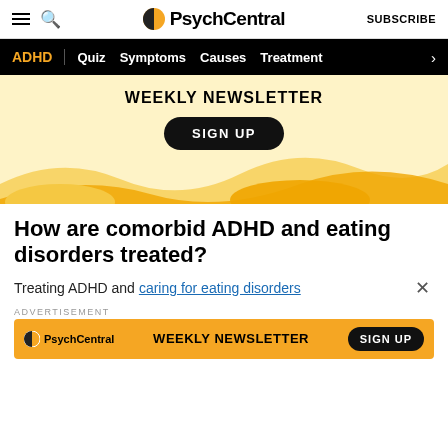PsychCentral — SUBSCRIBE
[Figure (screenshot): Navigation bar with ADHD, Quiz, Symptoms, Causes, Treatment links on black background]
[Figure (infographic): Weekly Newsletter sign-up banner with warm yellow background and decorative wave shapes, SIGN UP button]
How are comorbid ADHD and eating disorders treated?
Treating ADHD and caring for eating disorders
ADVERTISEMENT
[Figure (infographic): PsychCentral Weekly Newsletter advertisement banner with orange background and SIGN UP button]